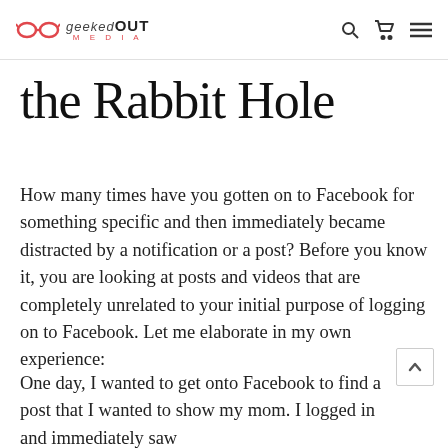geekedOUT MEDIA — navigation header with search, cart, and menu icons
the Rabbit Hole
How many times have you gotten on to Facebook for something specific and then immediately became distracted by a notification or a post? Before you know it, you are looking at posts and videos that are completely unrelated to your initial purpose of logging on to Facebook. Let me elaborate in my own experience:
One day, I wanted to get onto Facebook to find a post that I wanted to show my mom. I logged in and immediately saw